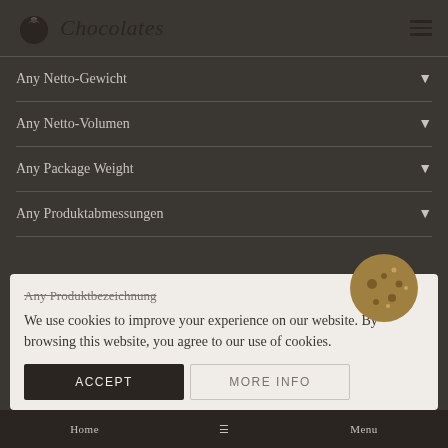Chocolates
Any Netto-Gewicht
Any Netto-Volumen
Any Package Weight
Any Produktabmessungen
Any Produktbezeichnung
We use cookies to improve your experience on our website. By browsing this website, you agree to our use of cookies.
ACCEPT | MORE INFO